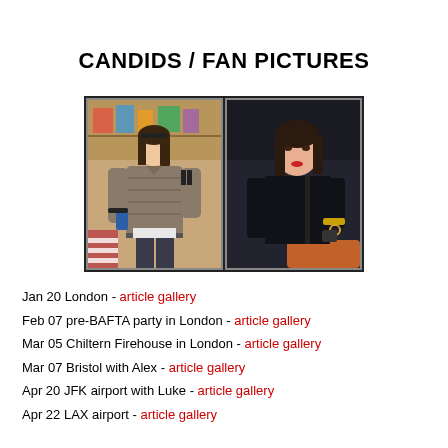CANDIDS / FAN PICTURES
[Figure (photo): Two candid photos of a young woman: left photo shows her outdoors in a puffer jacket carrying a bag; right photo shows her in a car wearing black clothing.]
Jan 20 London - article gallery
Feb 07 pre-BAFTA party in London - article gallery
Mar 05 Chiltern Firehouse in London - article gallery
Mar 07 Bristol with Alex - article gallery
Apr 20 JFK airport with Luke - article gallery
Apr 22 LAX airport - article gallery